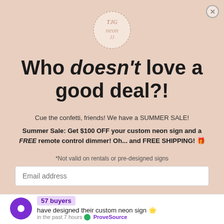[Figure (logo): Circular logo with 'TJG neon' text inside a dotted circle border]
Who doesn't love a good deal?!
Cue the confetti, friends! We have a SUMMER SALE!
Summer Sale: Get $100 OFF your custom neon sign and a FREE remote control dimmer! Oh... and FREE SHIPPING! 🎉
*Not valid on rentals or pre-designed signs
Email address
57 buyers have designed their custom neon sign 🌟 in the past 7 hours ✅ ProveSource